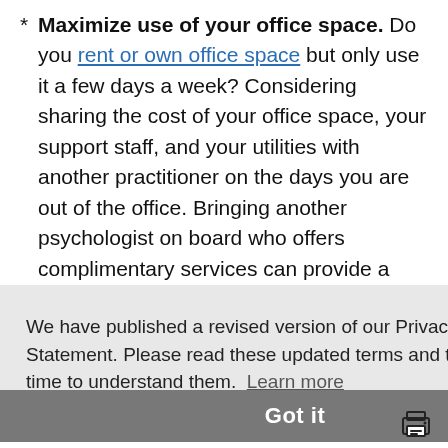Maximize use of your office space. Do you rent or own office space but only use it a few days a week? Considering sharing the cost of your office space, your support staff, and your utilities with another practitioner on the days you are out of the office. Bringing another psychologist on board who offers complimentary services can provide a broader range of services to the community. Do
We have published a revised version of our Privacy Statement. Please read these updated terms and take some time to understand them. Learn more
Got it